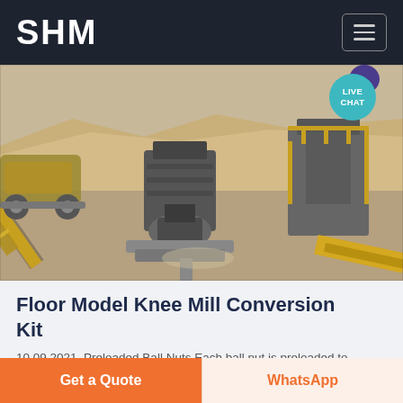SHM
[Figure (photo): Aerial view of a large industrial mining/crushing plant with conveyor belts, crushers, and heavy machinery in an arid open-pit environment. A 'LIVE CHAT' badge is overlaid in the top-right corner.]
Floor Model Knee Mill Conversion Kit
10 09 2021  Preloaded Ball Nuts Each ball nut is preloaded to eliminate lost motion This stiffness
Get a Quote
WhatsApp